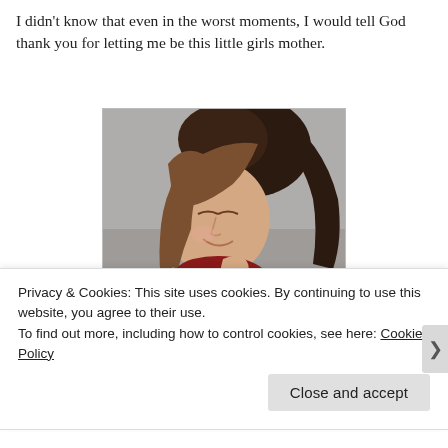I didn't know that even in the worst moments, I would tell God thank you for letting me be this little girls mother.
[Figure (photo): A woman with brown hair leaning down and smiling while holding a newborn baby close to her face. She is wearing a red top. The background is grey.]
Privacy & Cookies: This site uses cookies. By continuing to use this website, you agree to their use.
To find out more, including how to control cookies, see here: Cookie Policy